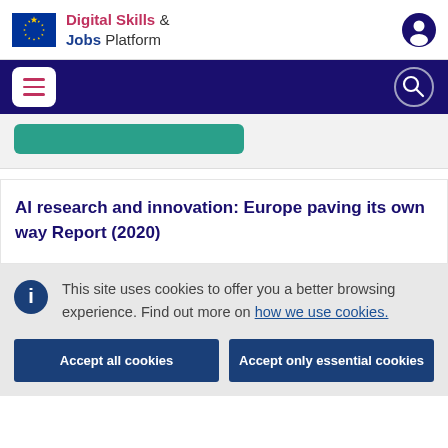Digital Skills & Jobs Platform
AI research and innovation: Europe paving its own way Report (2020)
This site uses cookies to offer you a better browsing experience. Find out more on how we use cookies.
Accept all cookies
Accept only essential cookies